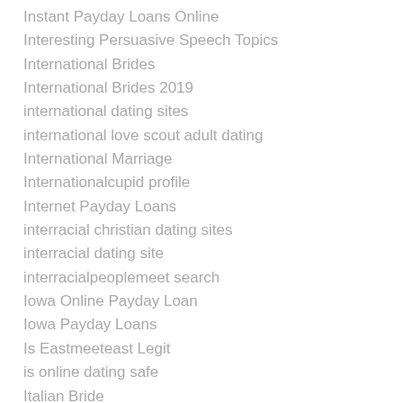Instant Payday Loans Online
Interesting Persuasive Speech Topics
International Brides
International Brides 2019
international dating sites
international love scout adult dating
International Marriage
Internationalcupid profile
Internet Payday Loans
interracial christian dating sites
interracial dating site
interracialpeoplemeet search
Iowa Online Payday Loan
Iowa Payday Loans
Is Eastmeeteast Legit
is online dating safe
Italian Bride
italian mail order brides